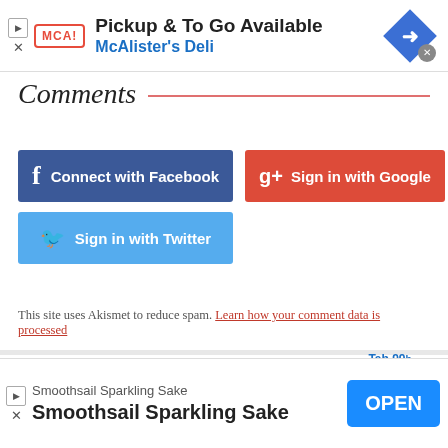[Figure (screenshot): Top advertisement banner for McAlister's Deli: 'Pickup & To Go Available' with MCA logo and blue diamond arrow icon]
Comments
[Figure (screenshot): Social login buttons: Connect with Facebook (blue), Sign in with Google (red), Sign in with Twitter (light blue)]
This site uses Akismet to reduce spam. Learn how your comment data is processed
[Figure (screenshot): Bottom advertisement banner for Smoothsail Sparkling Sake with OPEN button]